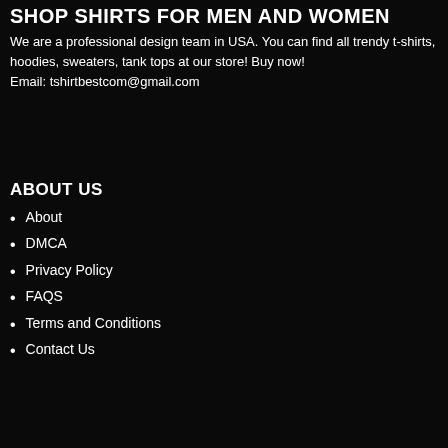SHOP SHIRTS FOR MEN AND WOMEN
We are a professional design team in USA. You can find all trendy t-shirts, hoodies, sweaters, tank tops at our store! Buy now!
Email: tshirtbestcom@gmail.com
ABOUT US
About
DMCA
Privacy Policy
FAQS
Terms and Conditions
Contact Us